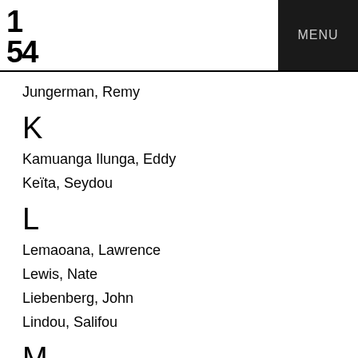1 54 | MENU
Jungerman, Remy
K
Kamuanga Ilunga, Eddy
Keïta, Seydou
L
Lemaoana, Lawrence
Lewis, Nate
Liebenberg, John
Lindou, Salifou
M
Mabunda, Gonçalo
Mafafo, Kimathi
Magadlela, Turiya
Mann, Alice